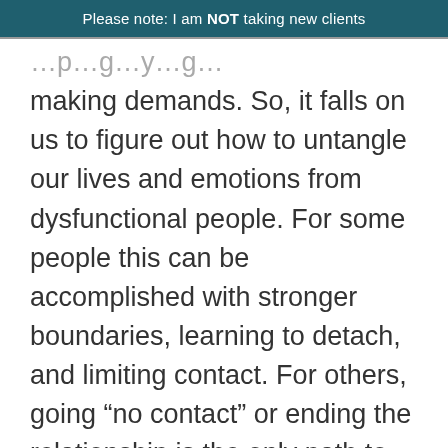Please note: I am NOT taking new clients
making demands. So, it falls on us to figure out how to untangle our lives and emotions from dysfunctional people. For some people this can be accomplished with stronger boundaries, learning to detach, and limiting contact. For others, going “no contact” or ending the relationship is the only path to emotional freedom.
I don’t know what’s right for you or when you’ll be ready to make a change.